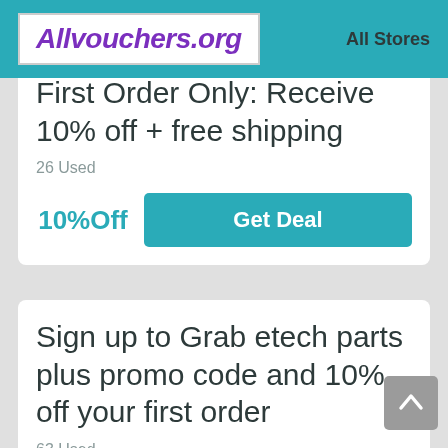Allvouchers.org   All Stores
First Order Only: Receive 10% off + free shipping
26 Used
10%Off
Get Deal
Sign up to Grab etech parts plus promo code and 10% off your first order
63 Used
10%Off
Get Deal